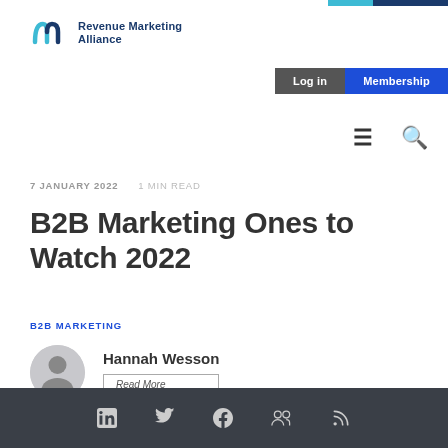Revenue Marketing Alliance
Log in  Membership
7 JANUARY 2022   1 MIN READ
B2B Marketing Ones to Watch 2022
B2B MARKETING
Hannah Wesson  Read More
Social media icons: LinkedIn, Twitter, Facebook, Community, RSS